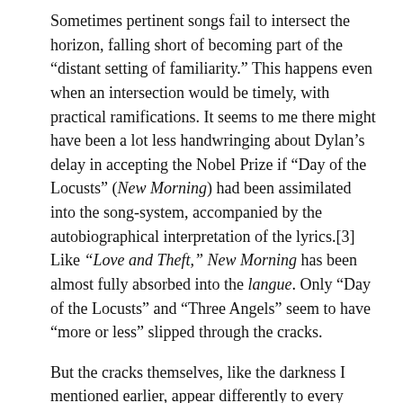Sometimes pertinent songs fail to intersect the horizon, falling short of becoming part of the “distant setting of familiarity.” This happens even when an intersection would be timely, with practical ramifications. It seems to me there might have been a lot less handwringing about Dylan’s delay in accepting the Nobel Prize if “Day of the Locusts” (New Morning) had been assimilated into the song-system, accompanied by the autobiographical interpretation of the lyrics.[3] Like “Love and Theft,” New Morning has been almost fully absorbed into the langue. Only “Day of the Locusts” and “Three Angels” seem to have “more or less” slipped through the cracks.
But the cracks themselves, like the darkness I mentioned earlier, appear differently to every Dylanista. Even my list of categories is